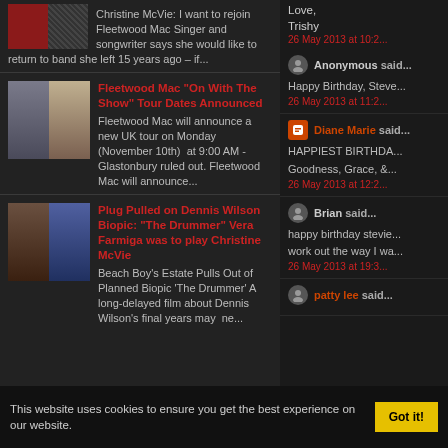Christine McVie: I want to rejoin Fleetwood Mac Singer and songwriter says she would like to return to band she left 15 years ago – if...
Fleetwood Mac "On With The Show" Tour Dates Announced — Fleetwood Mac will announce a new UK tour on Monday (November 10th) at 9:00 AM - Glastonbury ruled out. Fleetwood Mac will announce...
Plug Pulled on Dennis Wilson Biopic: "The Drummer" Vera Farmiga was to play Christine McVie — Beach Boy's Estate Pulls Out of Planned Biopic 'The Drummer' A long-delayed film about Dennis Wilson's final years may ne...
Love,
Trishy
26 May 2013 at 10:2...
Anonymous said... Happy Birthday, Steve...
26 May 2013 at 11:2...
Diane Marie said... HAPPIEST BIRTHDA... Goodness, Grace, &...
26 May 2013 at 12:2...
Brian said... happy birthday stevie... work out the way I wa...
26 May 2013 at 19:3...
patty lee said...
This website uses cookies to ensure you get the best experience on our website.
Got it!